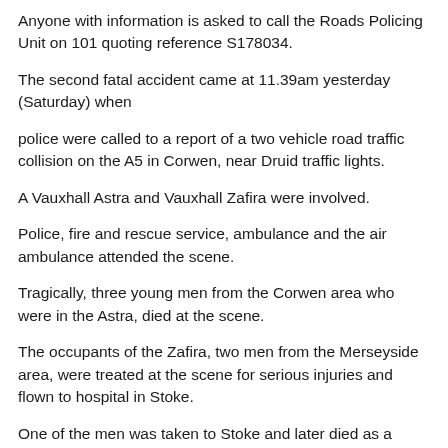Anyone with information is asked to call the Roads Policing Unit on 101 quoting reference S178034.
The second fatal accident came at 11.39am yesterday (Saturday) when
police were called to a report of a two vehicle road traffic collision on the A5 in Corwen, near Druid traffic lights.
A Vauxhall Astra and Vauxhall Zafira were involved.
Police, fire and rescue service, ambulance and the air ambulance attended the scene.
Tragically, three young men from the Corwen area who were in the Astra, died at the scene.
The occupants of the Zafira, two men from the Merseyside area, were treated at the scene for serious injuries and flown to hospital in Stoke.
One of the men was taken to Stoke and later died as a result